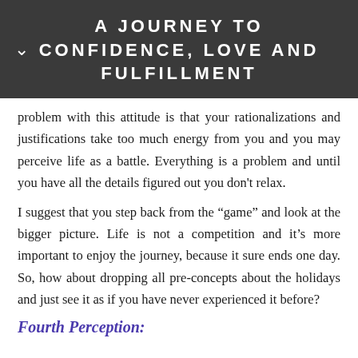A JOURNEY TO CONFIDENCE, LOVE AND FULFILLMENT
problem with this attitude is that your rationalizations and justifications take too much energy from you and you may perceive life as a battle. Everything is a problem and until you have all the details figured out you don't relax.
I suggest that you step back from the “game” and look at the bigger picture. Life is not a competition and it’s more important to enjoy the journey, because it sure ends one day. So, how about dropping all pre-concepts about the holidays and just see it as if you have never experienced it before?
Fourth Perception: